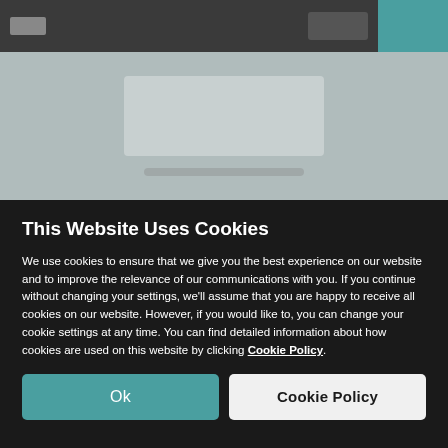[Figure (screenshot): Blurred screenshot of a website with a dark top navigation bar containing a teal accent, and a grey content area below]
This Website Uses Cookies
We use cookies to ensure that we give you the best experience on our website and to improve the relevance of our communications with you. If you continue without changing your settings, we'll assume that you are happy to receive all cookies on our website. However, if you would like to, you can change your cookie settings at any time. You can find detailed information about how cookies are used on this website by clicking Cookie Policy.